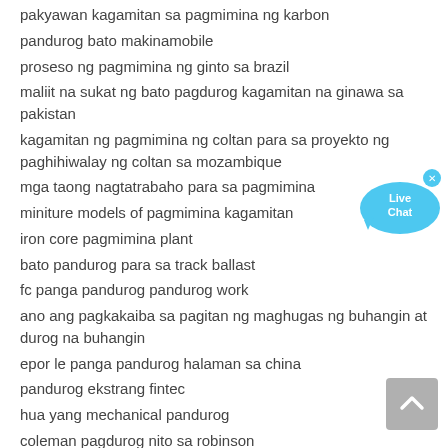pakyawan kagamitan sa pagmimina ng karbon
pandurog bato makinamobile
proseso ng pagmimina ng ginto sa brazil
maliit na sukat ng bato pagdurog kagamitan na ginawa sa pakistan
kagamitan ng pagmimina ng coltan para sa proyekto ng paghihiwalay ng coltan sa mozambique
mga taong nagtatrabaho para sa pagmimina
miniture models of pagmimina kagamitan
iron core pagmimina plant
bato pandurog para sa track ballast
fc panga pandurog pandurog work
ano ang pagkakaiba sa pagitan ng maghugas ng buhangin at durog na buhangin
epor le panga pandurog halaman sa china
pandurog ekstrang fintec
hua yang mechanical pandurog
coleman pagdurog nito sa robinson
sangati roller pandurog